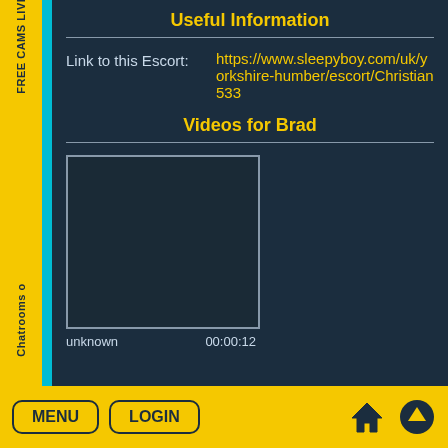Useful Information
Link to this Escort: https://www.sleepyboy.com/uk/yorkshire-humber/escort/Christian533
Videos for Brad
[Figure (screenshot): Video thumbnail placeholder, dark background, bordered rectangle]
unknown   00:00:12
MENU  LOGIN  [home icon] [up icon]